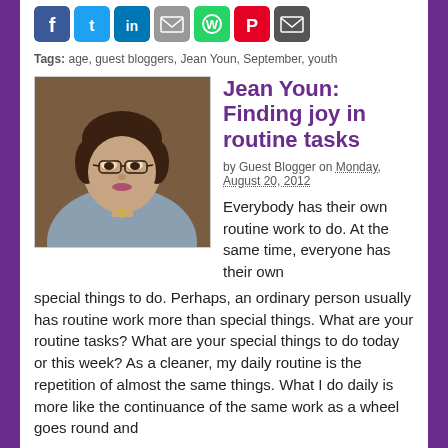[Figure (other): Social media sharing buttons: Facebook, Twitter, LinkedIn, Email, WhatsApp, Pinterest, Email (dark)]
Tags: age, guest bloggers, Jean Youn, September, youth
[Figure (photo): Portrait photo of Jean Youn, a woman with short dark hair and glasses wearing a gray blazer and necklace]
Jean Youn: Finding joy in routine tasks
by Guest Blogger on Monday, August 20, 2012
Everybody has their own routine work to do. At the same time, everyone has their own special things to do. Perhaps, an ordinary person usually has routine work more than special things. What are your routine tasks? What are your special things to do today or this week? As a cleaner, my daily routine is the repetition of almost the same things. What I do daily is more like the continuance of the same work as a wheel goes round and